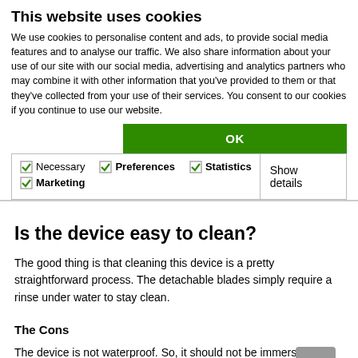This website uses cookies
We use cookies to personalise content and ads, to provide social media features and to analyse our traffic. We also share information about your use of our site with our social media, advertising and analytics partners who may combine it with other information that you've provided to them or that they've collected from your use of their services. You consent to our cookies if you continue to use our website.
OK
Necessary   Preferences   Statistics   Marketing   Show details
Is the device easy to clean?
The good thing is that cleaning this device is a pretty straightforward process. The detachable blades simply require a rinse under water to stay clean.
The Cons
The device is not waterproof. So, it should not be immersed completely under water or else the trimmer will not be the same again. As such, this is not a major flaw